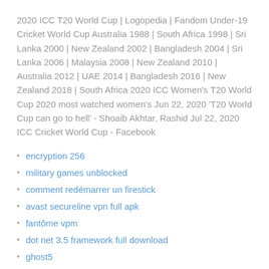2020 ICC T20 World Cup | Logopedia | Fandom Under-19 Cricket World Cup Australia 1988 | South Africa 1998 | Sri Lanka 2000 | New Zealand 2002 | Bangladesh 2004 | Sri Lanka 2006 | Malaysia 2008 | New Zealand 2010 | Australia 2012 | UAE 2014 | Bangladesh 2016 | New Zealand 2018 | South Africa 2020 ICC Women's T20 World Cup 2020 most watched women's Jun 22, 2020 'T20 World Cup can go to hell' - Shoaib Akhtar, Rashid Jul 22, 2020 ICC Cricket World Cup - Facebook
encryption 256
military games unblocked
comment redémarrer un firestick
avast secureline vpn full apk
fantôme vpm
dot net 3.5 framework full download
ghost5